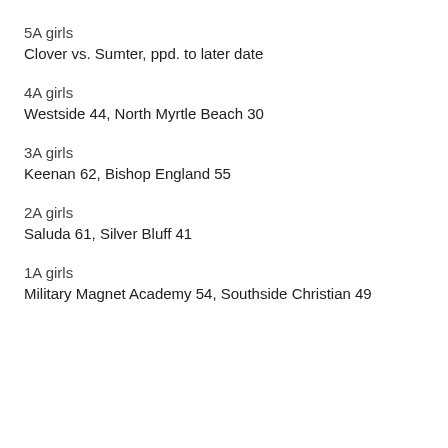5A girls
Clover vs. Sumter, ppd. to later date
4A girls
Westside 44, North Myrtle Beach 30
3A girls
Keenan 62, Bishop England 55
2A girls
Saluda 61, Silver Bluff 41
1A girls
Military Magnet Academy 54, Southside Christian 49